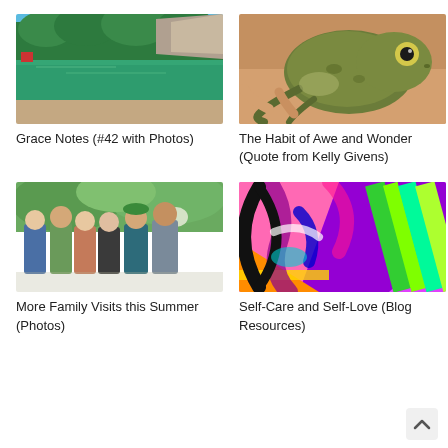[Figure (photo): Outdoor lake or quarry with green trees and rocky cliff in background, calm green water]
Grace Notes (#42 with Photos)
[Figure (photo): Close-up of a frog being held in a hand, brown and green coloring with large eye visible]
The Habit of Awe and Wonder (Quote from Kelly Givens)
[Figure (photo): Group of six adults posing together outdoors, smiling family photo]
More Family Visits this Summer (Photos)
[Figure (illustration): Colorful abstract art with bold brush strokes in green, purple, pink, yellow, orange colors with a black curved shape]
Self-Care and Self-Love (Blog Resources)